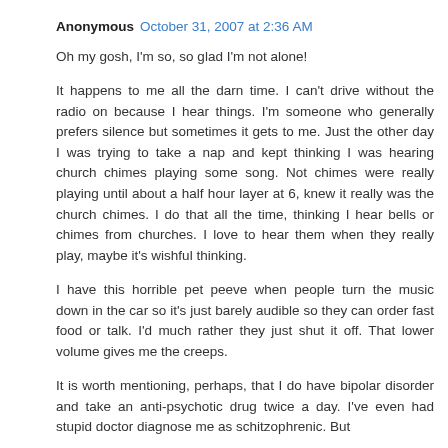Anonymous  October 31, 2007 at 2:36 AM
Oh my gosh, I'm so, so glad I'm not alone!
It happens to me all the darn time. I can't drive without the radio on because I hear things. I'm someone who generally prefers silence but sometimes it gets to me. Just the other day I was trying to take a nap and kept thinking I was hearing church chimes playing some song. Not chimes were really playing until about a half hour layer at 6, knew it really was the church chimes. I do that all the time, thinking I hear bells or chimes from churches. I love to hear them when they really play, maybe it's wishful thinking.
I have this horrible pet peeve when people turn the music down in the car so it's just barely audible so they can order fast food or talk. I'd much rather they just shut it off. That lower volume gives me the creeps.
It is worth mentioning, perhaps, that I do have bipolar disorder and take an anti-psychotic drug twice a day. I've even had stupid doctor diagnose me as schitzophrenic. But